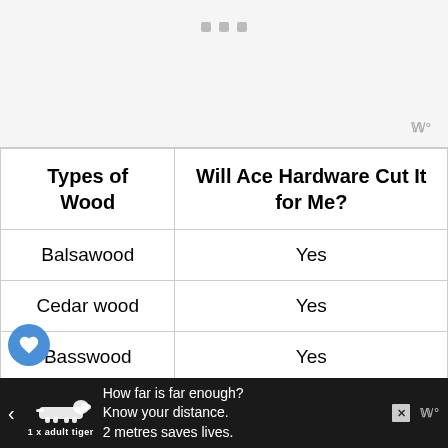[Figure (screenshot): Top gray area with three small gray square dots and a wordmark logo at bottom right]
| Types of Wood | Will Ace Hardware Cut It for Me? |
| --- | --- |
| Balsawood | Yes |
| Cedar wood | Yes |
| Basswood | Yes |
[Figure (infographic): Black advertisement bar at bottom with tiger illustration, text 'How far is far enough? Know your distance. 2 metres saves lives.' and close button]